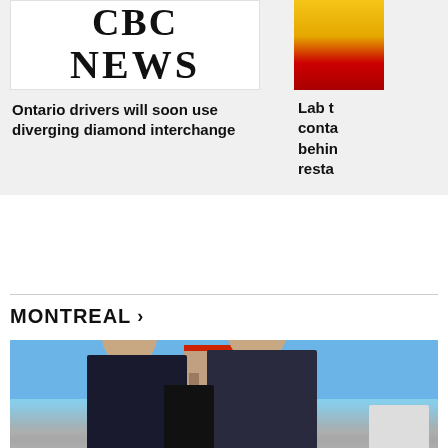[Figure (logo): CBC News logo with text CBC above NEWS]
Ontario drivers will soon use diverging diamond interchange
[Figure (photo): Partial photo of a yellow/red product bottle, cropped on right]
Lab t conta behin resta
MONTREAL >
[Figure (photo): Two men in dark suits outdoors on rooftop with mountain and city in background, plus other people nearby]